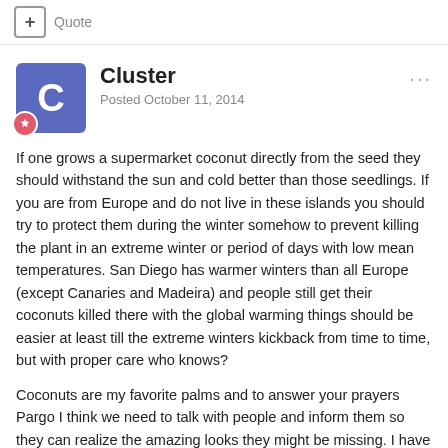+ Quote
Cluster
Posted October 11, 2014
If one grows a supermarket coconut directly from the seed they should withstand the sun and cold better than those seedlings. If you are from Europe and do not live in these islands you should try to protect them during the winter somehow to prevent killing the plant in an extreme winter or period of days with low mean temperatures. San Diego has warmer winters than all Europe (except Canaries and Madeira) and people still get their coconuts killed there with the global warming things should be easier at least till the extreme winters kickback from time to time, but with proper care who knows?
Coconuts are my favorite palms and to answer your prayers Pargo I think we need to talk with people and inform them so they can realize the amazing looks they might be missing. I have spoken with the people from Fajã dos Padres already and suggested them to try plenty of coconuts. They already plant some very tropical fruits there why not take the next natural step and plant a coconut. Not only that but the scarab is killing all the canariensis! so